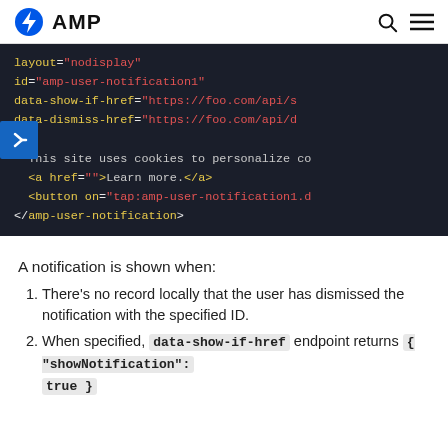AMP
[Figure (screenshot): Dark-themed code block showing AMP HTML markup with layout='nodisplay', id='amp-user-notification1', data-show-if-href, data-dismiss-href attributes, inner text about cookies, anchor tag, button, and closing amp-user-notification tag. A blue arrow button overlays the left side.]
A notification is shown when:
There's no record locally that the user has dismissed the notification with the specified ID.
When specified, data-show-if-href endpoint returns { "showNotification": true }